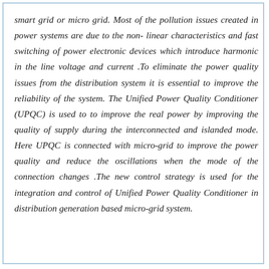smart grid or micro grid. Most of the pollution issues created in power systems are due to the non- linear characteristics and fast switching of power electronic devices which introduce harmonic in the line voltage and current .To eliminate the power quality issues from the distribution system it is essential to improve the reliability of the system. The Unified Power Quality Conditioner (UPQC) is used to to improve the real power by improving the quality of supply during the interconnected and islanded mode. Here UPQC is connected with micro-grid to improve the power quality and reduce the oscillations when the mode of the connection changes .The new control strategy is used for the integration and control of Unified Power Quality Conditioner in distribution generation based micro-grid system.